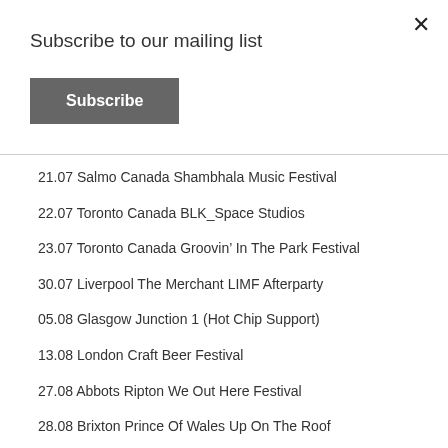Subscribe to our mailing list
Subscribe
21.07 Salmo Canada Shambhala Music Festival
22.07 Toronto Canada BLK_Space Studios
23.07 Toronto Canada Groovin' In The Park Festival
30.07 Liverpool The Merchant LIMF Afterparty
05.08 Glasgow Junction 1 (Hot Chip Support)
13.08 London Craft Beer Festival
27.08 Abbots Ripton We Out Here Festival
28.08 Brixton Prince Of Wales Up On The Roof
02.09 Margate Faith In Strangers
16.09 Barcelona Le Edition